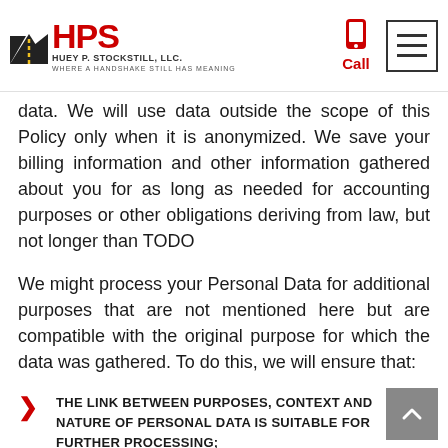HPS HUEY P. STOCKSTILL, LLC. WHERE A HANDSHAKE STILL HAS MEANING | Call | Menu
data. We will use data outside the scope of this Policy only when it is anonymized. We save your billing information and other information gathered about you for as long as needed for accounting purposes or other obligations deriving from law, but not longer than TODO
We might process your Personal Data for additional purposes that are not mentioned here but are compatible with the original purpose for which the data was gathered. To do this, we will ensure that:
THE LINK BETWEEN PURPOSES, CONTEXT AND NATURE OF PERSONAL DATA IS SUITABLE FOR FURTHER PROCESSING;
THE FURTHER PROCESSING WOULD NOT HARM YOUR INTERESTS AND